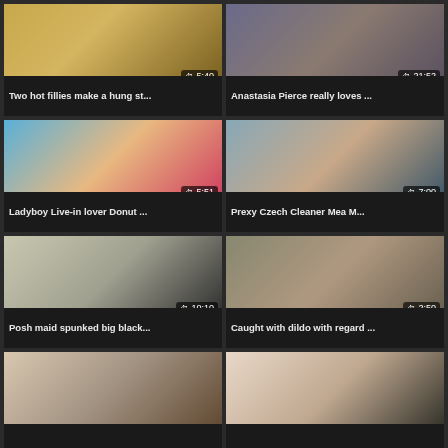[Figure (screenshot): Video thumbnail grid - Row 1 Left: video thumbnail with duration 5:40, title 'Two hot fillies make a hung st...']
[Figure (screenshot): Video thumbnail - duration 21:52, title 'Anastasia Pierce really loves ...']
[Figure (screenshot): Video thumbnail - duration 5:51, title 'Ladyboy Live-in lover Donut ...']
[Figure (screenshot): Video thumbnail - duration 7:00, title 'Prexy Czech Cleaner Mea M...']
[Figure (screenshot): Video thumbnail - duration 10:10, title 'Posh maid spunked big black...']
[Figure (screenshot): Video thumbnail - duration 2:50, title 'Caught with dildo with regard ...']
[Figure (screenshot): Video thumbnail - no duration visible, partial card at bottom left]
[Figure (screenshot): Video thumbnail - no duration visible, partial card at bottom right]